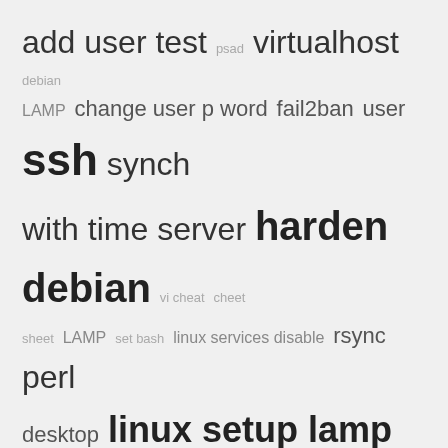[Figure (infographic): Tag cloud with terms: add user test, psad, virtualhost, debian, LAMP, change user p word, fail2ban, user, ssh, synch with time server, harden debian, vi cheat, cheet sheet, LAMP, set bash, linux services disable, rsync, perl, desktop, linux setup lamp, iptables, how to restore blinking cursor, change user, update-rc.d — varying sizes and shades indicating frequency]
POST TOPICS
Apache
BASH
Debian
Fail2ban
Google Adwords